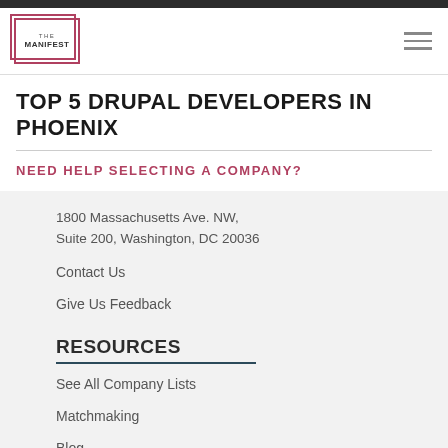[Figure (logo): The Manifest logo — double-bordered square with 'THE MANIFEST' text]
TOP 5 DRUPAL DEVELOPERS IN PHOENIX
NEED HELP SELECTING A COMPANY?
1800 Massachusetts Ave. NW, Suite 200, Washington, DC 20036
Contact Us
Give Us Feedback
RESOURCES
See All Company Lists
Matchmaking
Blog